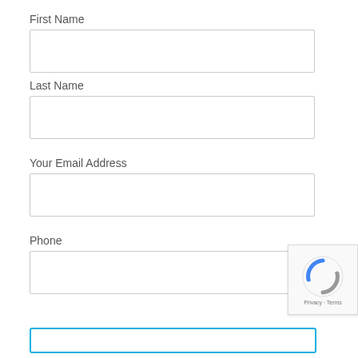First Name
[Figure (other): Empty text input field for First Name]
Last Name
[Figure (other): Empty text input field for Last Name]
Your Email Address
[Figure (other): Empty text input field for Email Address]
Phone
[Figure (other): Empty text input field for Phone]
[Figure (other): reCAPTCHA badge with Privacy and Terms links]
[Figure (other): Submit button outline (blue border, white background)]